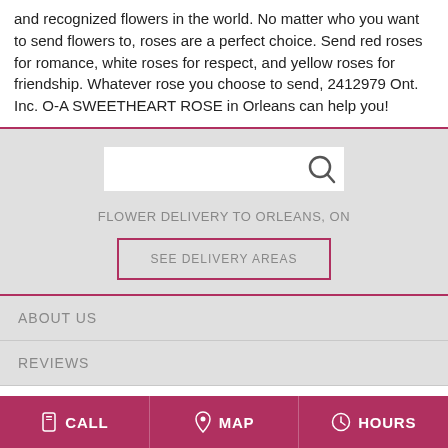and recognized flowers in the world. No matter who you want to send flowers to, roses are a perfect choice. Send red roses for romance, white roses for respect, and yellow roses for friendship. Whatever rose you choose to send, 2412979 Ont. Inc. O-A SWEETHEART ROSE in Orleans can help you!
[Figure (screenshot): Search bar with magnifying glass icon on grey background]
FLOWER DELIVERY TO ORLEANS, ON
SEE DELIVERY AREAS
ABOUT US
REVIEWS
CALL   MAP   HOURS